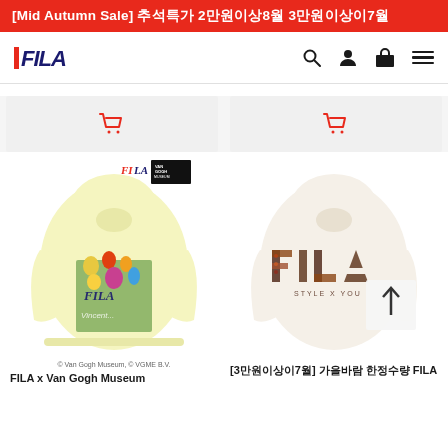[Mid Autumn Sale] 추석특가 2만원이상8월 3만원이상이7월
[Figure (logo): FILA brand logo in navy blue italic text with red vertical bar]
[Figure (screenshot): Two shopping cart placeholder tiles in light gray with red cart icons]
[Figure (photo): Yellow FILA x Van Gogh Museum hoodie with floral graphic and FILA Van Gogh Museum logo badge]
[Figure (photo): Cream colored FILA hoodie with large FILA logo in brown/autumn patterned text]
© Van Gogh Museum, © VGME B.V.
FILA x Van Gogh Museum
[3만원이상이7월] 가을바람 한정수량 FILA